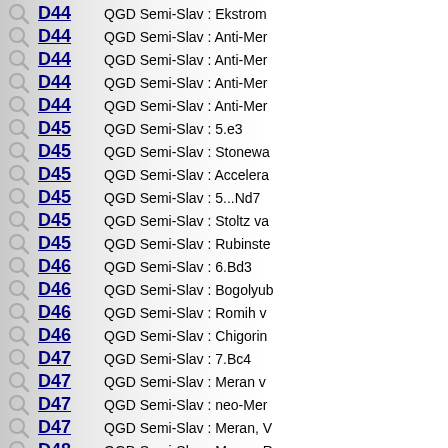D44  QGD Semi-Slav : Ekstrom
D44  QGD Semi-Slav : Anti-Mer
D44  QGD Semi-Slav : Anti-Mer
D44  QGD Semi-Slav : Anti-Mer
D44  QGD Semi-Slav : Anti-Mer
D45  QGD Semi-Slav : 5.e3
D45  QGD Semi-Slav : Stonewa
D45  QGD Semi-Slav : Accelera
D45  QGD Semi-Slav : 5...Nd7
D45  QGD Semi-Slav : Stoltz va
D45  QGD Semi-Slav : Rubinste
D46  QGD Semi-Slav : 6.Bd3
D46  QGD Semi-Slav : Bogolyub
D46  QGD Semi-Slav : Romih v
D46  QGD Semi-Slav : Chigorin
D47  QGD Semi-Slav : 7.Bc4
D47  QGD Semi-Slav : Meran v
D47  QGD Semi-Slav : neo-Mer
D47  QGD Semi-Slav : Meran, V
D48  QGD Semi-Slav : Meran, R